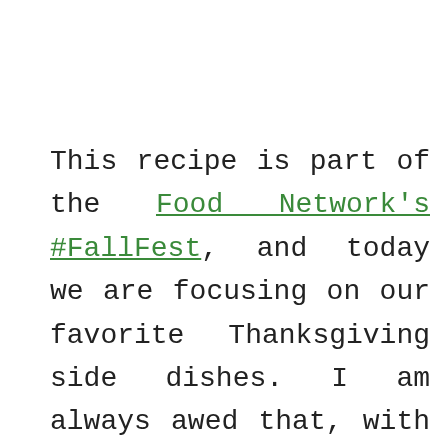This recipe is part of the Food Network's #FallFest, and today we are focusing on our favorite Thanksgiving side dishes. I am always awed that, with nothing more than a vague topic, this group of bloggers comes up with the most amazing array of recipes. What an incredibly talented group they are. Make certain you check out the other recipes in today's collection listed at the bottom of